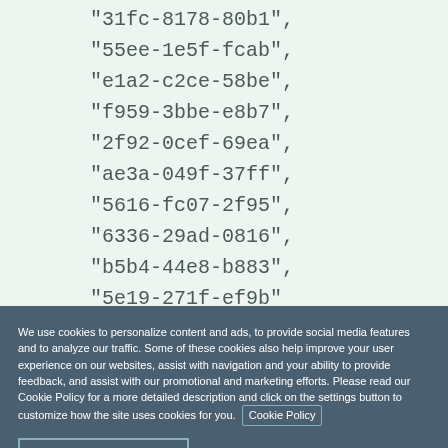"31fc-8178-80b1",
"55ee-1e5f-fcab",
"e1a2-c2ce-58be",
"f959-3bbe-e8b7",
"2f92-0cef-69ea",
"ae3a-049f-37ff",
"5616-fc07-2f95",
"6336-29ad-0816",
"b5b4-44e8-b883",
"5e19-271f-ef9b"
We use cookies to personalize content and ads, to provide social media features and to analyze our traffic. Some of these cookies also help improve your user experience on our websites, assist with navigation and your ability to provide feedback, and assist with our promotional and marketing efforts. Please read our Cookie Policy for a more detailed description and click on the settings button to customize how the site uses cookies for you. Cookie Policy
ACCEPT COOKIES    COOKIES SETTINGS